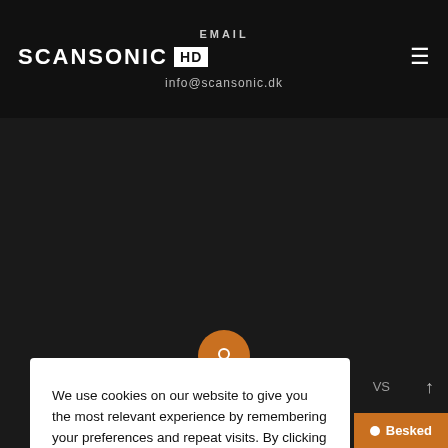EMAIL
SCANSONIC HD
info@scansonic.dk
[Figure (screenshot): Scansonic HD website screenshot with dark background and orange circular icon partially visible]
We use cookies on our website to give you the most relevant experience by remembering your preferences and repeat visits. By clicking “Accept All”, you consent to the use of ALL the cookies. However, you may visit "Cookie Settings" to provide a controlled consent.
Cookie Settings   Accept all
Besked